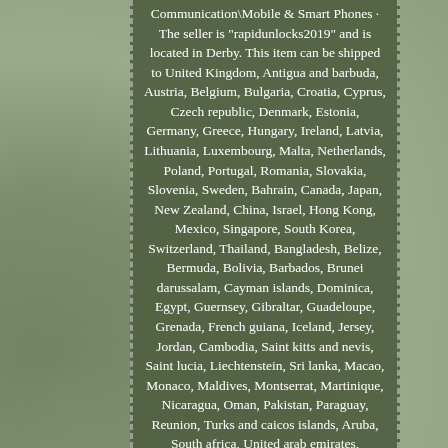Communication\Mobile & Smart Phones · The seller is "rapidunlocks2019" and is located in Derby. This item can be shipped to United Kingdom, Antigua and barbuda, Austria, Belgium, Bulgaria, Croatia, Cyprus, Czech republic, Denmark, Estonia, Germany, Greece, Hungary, Ireland, Latvia, Lithuania, Luxembourg, Malta, Netherlands, Poland, Portugal, Romania, Slovakia, Slovenia, Sweden, Bahrain, Canada, Japan, New Zealand, China, Israel, Hong Kong, Mexico, Singapore, South Korea, Switzerland, Thailand, Bangladesh, Belize, Bermuda, Bolivia, Barbados, Brunei darussalam, Cayman islands, Dominica, Egypt, Guernsey, Gibraltar, Guadeloupe, Grenada, French guiana, Iceland, Jersey, Jordan, Cambodia, Saint kitts and nevis, Saint lucia, Liechtenstein, Sri lanka, Macao, Monaco, Maldives, Montserrat, Martinique, Nicaragua, Oman, Pakistan, Paraguay, Reunion, Turks and caicos islands, Aruba, South africa, United arab emirates, Bahamas, Costa rica, Kuwait, Philippines, Qatar, Uruguay.
Model: Samsung Galaxy S7 edge Model